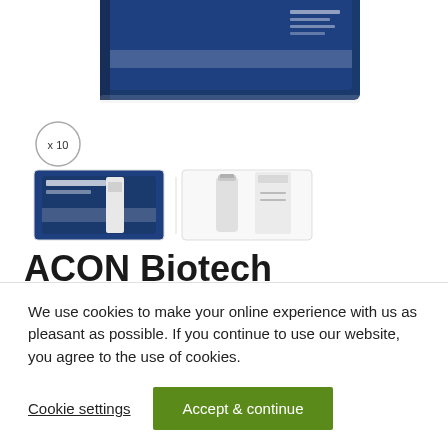[Figure (photo): Partial view of a blue ACON Biotech FlowFlex Covid-19 product box at the top of the page, cropped]
[Figure (photo): Thumbnail images: x10 badge circle, FlowFlex blue box thumbnail, and test kit components (vial and test strip)]
ACON Biotech FlowFlex Covid-19 Rapid Antigen Home Test (10…
We use cookies to make your online experience with us as pleasant as possible. If you continue to use our website, you agree to the use of cookies.
Cookie settings   Accept & continue